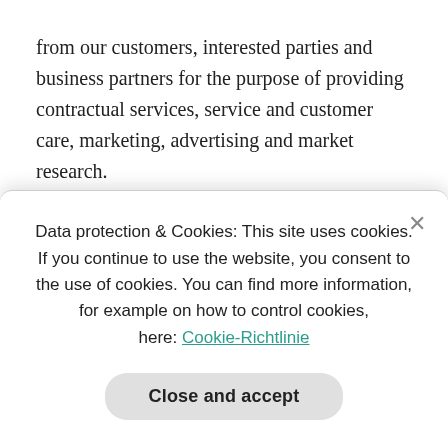from our customers, interested parties and business partners for the purpose of providing contractual services, service and customer care, marketing, advertising and market research.
Order processing in the online shop and customer account
We process the data of our customers within the scope
Data protection & Cookies: This site uses cookies. If you continue to use the website, you consent to the use of cookies. You can find more information, for example on how to control cookies, here: Cookie-Richtlinie
Close and accept